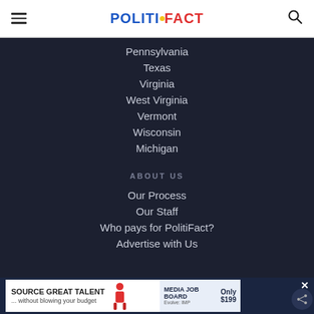POLITIFACT
Pennsylvania
Texas
Virginia
West Virginia
Vermont
Wisconsin
Michigan
ABOUT US
Our Process
Our Staff
Who pays for PolitiFact?
Advertise with Us
SOURCE GREAT TALENT ... without blowing your budget | Media Job Board | Evolve: IMP | Only $199